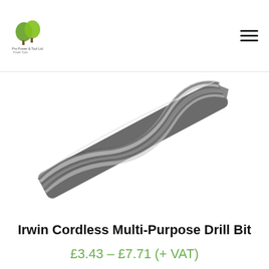[Figure (photo): Close-up photograph of a twisted metal drill bit (Irwin Cordless Multi-Purpose Drill Bit) on a white background, showing spiral flutes with metallic sheen.]
Irwin Cordless Multi-Purpose Drill Bit
£3.43 – £7.71 (+ VAT)